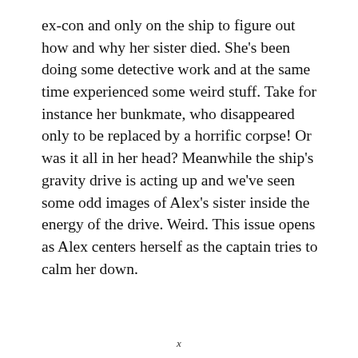ex-con and only on the ship to figure out how and why her sister died. She's been doing some detective work and at the same time experienced some weird stuff. Take for instance her bunkmate, who disappeared only to be replaced by a horrific corpse! Or was it all in her head? Meanwhile the ship's gravity drive is acting up and we've seen some odd images of Alex's sister inside the energy of the drive. Weird. This issue opens as Alex centers herself as the captain tries to calm her down.
x